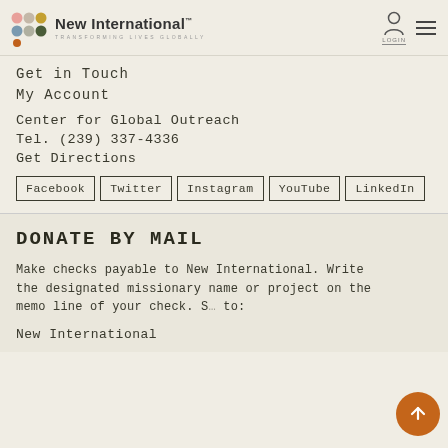New International — TRANSFORMING LIVES GLOBALLY
Get in Touch
My Account
Center for Global Outreach
Tel. (239) 337-4336
Get Directions
Facebook
Twitter
Instagram
YouTube
LinkedIn
DONATE BY MAIL
Make checks payable to New International. Write the designated missionary name or project on the memo line of your check. Send to:
New International